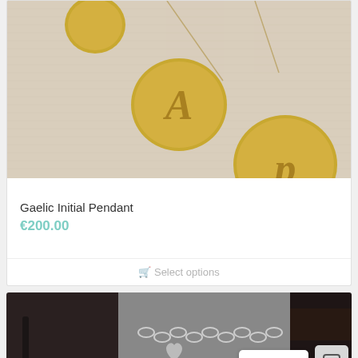[Figure (photo): Product photo of gold Gaelic initial pendants on a cream linen background]
Gaelic Initial Pendant
€200.00
Select options
[Figure (photo): Close-up photo of silver chain jewelry, split into three panels showing dark, chain detail, and dark hair/skin background. Contact and chat buttons overlaid.]